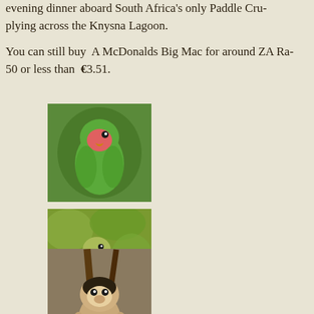evening dinner aboard South Africa's only Paddle Cru- plying across the Knysna Lagoon.
You can still buy  A McDonalds Big Mac for around ZA Ra- 50 or less than  €3.51.
[Figure (photo): Green parrot with pink/red face, sitting on a perch]
[Figure (photo): Green bird perched on a branch in foliage]
[Figure (photo): Small squirrel monkey perched on branches]
[Figure (photo): Monkey or primate hanging from a tree branch]